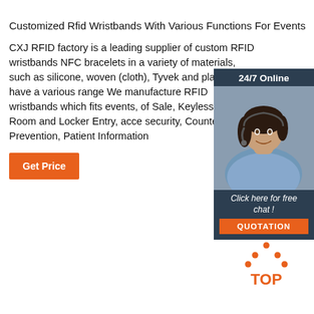Customized Rfid Wristbands With Various Functions For Events
CXJ RFID factory is a leading supplier of custom RFID wristbands NFC bracelets in a variety of materials, such as silicone, woven (cloth), Tyvek and plastic. We have a various range We manufacture RFID wristbands which fits events, of Sale, Keyless Hotel Room and Locker Entry, acce security, Counterfeit Prevention, Patient Information
[Figure (other): Orange 'Get Price' button]
[Figure (other): Chat widget showing '24/7 Online', a customer service representative photo, 'Click here for free chat!' text, and an orange 'QUOTATION' button on a dark navy background]
[Figure (logo): Orange TOP logo with dot triangle above the text 'TOP']